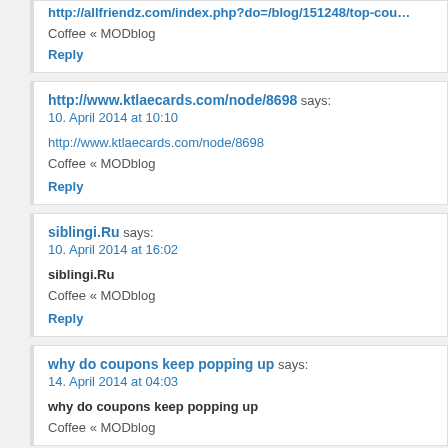http://allfriendz.com/index.php?do=/blog/151248/top-cou…
Coffee « MODblog
Reply
http://www.ktlaecards.com/node/8698 says:
10. April 2014 at 10:10
http://www.ktlaecards.com/node/8698
Coffee « MODblog
Reply
siblingi.Ru says:
10. April 2014 at 16:02
siblingi.Ru
Coffee « MODblog
Reply
why do coupons keep popping up says:
14. April 2014 at 04:03
why do coupons keep popping up
Coffee « MODblog